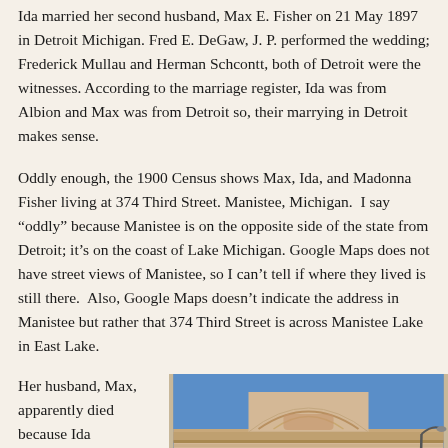Ida married her second husband, Max E. Fisher on 21 May 1897 in Detroit Michigan. Fred E. DeGaw, J. P. performed the wedding; Frederick Mullau and Herman Schcontt, both of Detroit were the witnesses. According to the marriage register, Ida was from Albion and Max was from Detroit so, their marrying in Detroit makes sense.
Oddly enough, the 1900 Census shows Max, Ida, and Madonna Fisher living at 374 Third Street. Manistee, Michigan.  I say “oddly” because Manistee is on the opposite side of the state from Detroit; it’s on the coast of Lake Michigan. Google Maps does not have street views of Manistee, so I can’t tell if where they lived is still there.  Also, Google Maps doesn’t indicate the address in Manistee but rather that 374 Third Street is across Manistee Lake in East Lake.
Her husband, Max, apparently died because Ida
[Figure (photo): Photograph of a historic stone building with arched windows, classical architectural details including an arched pediment, cornice molding, and ivy growing on the facade. Blue sky in the background with a street lamp visible.]